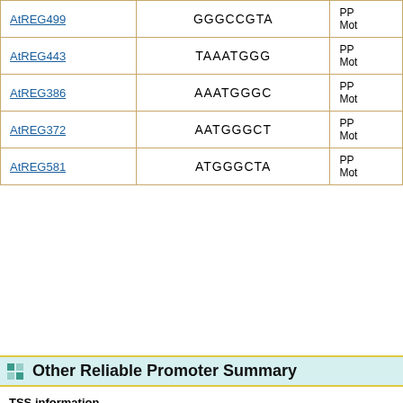|  |  |  | PPR...Mot... |
| --- | --- | --- | --- |
| AtREG499 | GGGCCGTA | PPR... Mot... |
| AtREG443 | TAAATGGG | PPR... Mot... |
| AtREG386 | AAATGGGC | PPR... Mot... |
| AtREG372 | AATGGGCT | PPR... Mot... |
| AtREG581 | ATGGGCTA | PPR... Mot... |
Other Reliable Promoter Summary
TSS information
| Type | Sequence | TPM score | Genome position |  | Strand | Posit |
| --- | --- | --- | --- | --- | --- | --- |
| Not Available | Not Available | Not Available | Not Available |  |
TSS information from cDNA
| Type | Sequence | Score | Genome position |  | Strand | Posit |
| --- | --- | --- | --- | --- | --- | --- |
| Not Available | Not Available | Not Available | Not Available |  |
Core promoter information
| Type | Sequence | Genome position |  | Strand | Start |
| --- | --- | --- | --- | --- | --- |